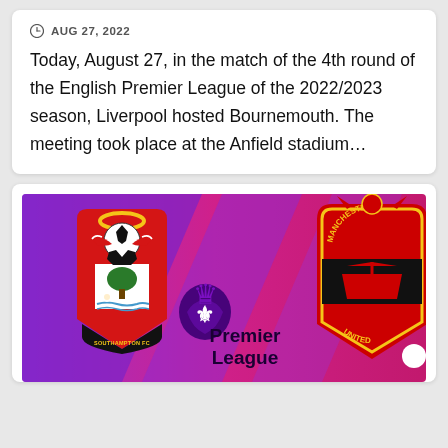AUG 27, 2022
Today, August 27, in the match of the 4th round of the English Premier League of the 2022/2023 season, Liverpool hosted Bournemouth. The meeting took place at the Anfield stadium…
[Figure (illustration): Match preview graphic with purple and pink diagonal striped background showing Southampton FC crest on the left, Premier League logo in the center, and Manchester United crest on the right.]